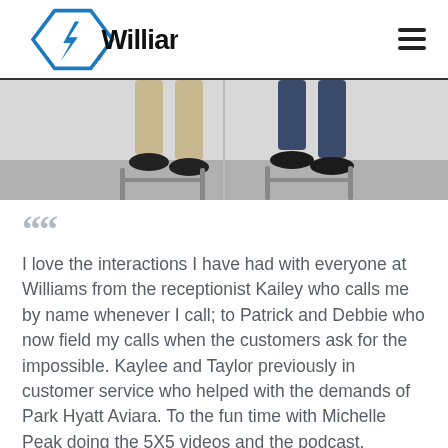Williams (logo with hamburger menu)
[Figure (photo): Cropped photo showing two people seated on stools, only their legs and feet visible from mid-thigh down. One person wearing khaki pants with black shoes, the other wearing dark jeans with dark shoes. Industrial-style metal stools against a light background.]
““ I love the interactions I have had with everyone at Williams from the receptionist Kailey who calls me by name whenever I call; to Patrick and Debbie who now field my calls when the customers ask for the impossible. Kaylee and Taylor previously in customer service who helped with the demands of Park Hyatt Aviara. To the fun time with Michelle Peak doing the 5X5 videos and the podcast. Enjoyed the time Eric W. spent with us on the West Coast and all he has done to help us. Happy to work with Williams.